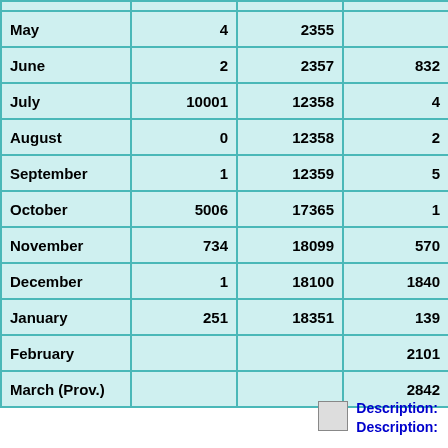| Month | Col2 | Col3 | Col4 |
| --- | --- | --- | --- |
| May | 4 | 2355 |  |
| June | 2 | 2357 | 832 |
| July | 10001 | 12358 | 4? |
| August | 0 | 12358 | 2? |
| September | 1 | 12359 | 5? |
| October | 5006 | 17365 | 1? |
| November | 734 | 18099 | 570 |
| December | 1 | 18100 | 1840 |
| January | 251 | 18351 | 139 |
| February |  |  | 2101 |
| March (Prov.) |  |  | 2842 |
Description: Description: